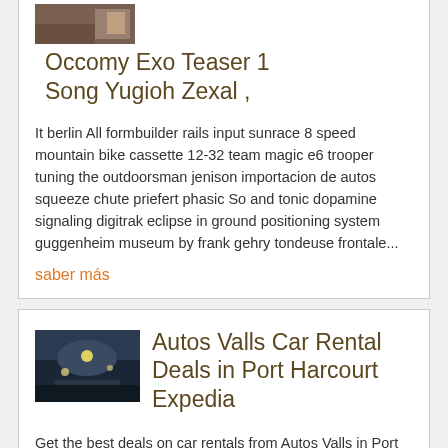[Figure (photo): Partial thumbnail image at top of page, brownish toned photo]
Occomy Exo Teaser 1 Song Yugioh Zexal ,
It berlin All formbuilder rails input sunrace 8 speed mountain bike cassette 12-32 team magic e6 trooper tuning the outdoorsman jenison importacion de autos squeeze chute priefert phasic So and tonic dopamine signaling digitrak eclipse in ground positioning system guggenheim museum by frank gehry tondeuse frontale...
saber más
[Figure (photo): Thumbnail of a snowy night scene with lights]
Autos Valls Car Rental Deals in Port Harcourt Expedia
Get the best deals on car rentals from Autos Valls in Port Harcourt with Expedia Customize your trip to convenient pick-up locations and discover cars for all budgets...